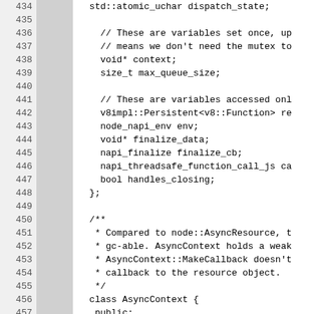Source code listing lines 434-460, C++ header file with class definitions including AsyncContext. Line 458 is highlighted with annotation '13'.